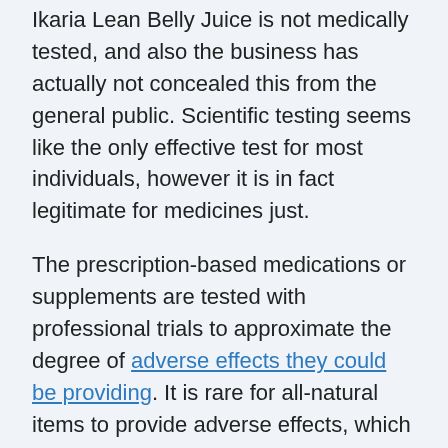Ikaria Lean Belly Juice is not medically tested, and also the business has actually not concealed this from the general public. Scientific testing seems like the only effective test for most individuals, however it is in fact legitimate for medicines just.
The prescription-based medications or supplements are tested with professional trials to approximate the degree of adverse effects they could be providing. It is rare for all-natural items to provide adverse effects, which is why medical testing is not required if the item utilizes only herbal removes inside.
The company, however, states that it complies with set testing for high quality and also security to make sure that no customer needs to experience